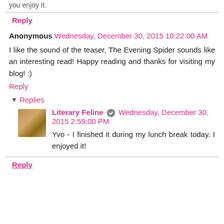you enjoy it.
Reply
Anonymous Wednesday, December 30, 2015 10:22:00 AM
I like the sound of the teaser, The Evening Spider sounds like an interesting read! Happy reading and thanks for visiting my blog! :)
Reply
Replies
Literary Feline Wednesday, December 30, 2015 2:59:00 PM
Yvo - I finished it during my lunch break today. I enjoyed it!
Reply